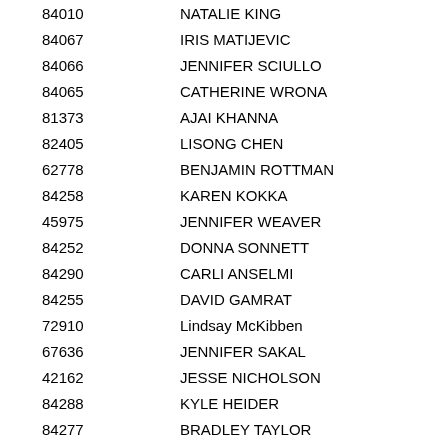| ID | Name | Value |
| --- | --- | --- |
| 84010 | NATALIE KING | 3 |
| 84067 | IRIS MATIJEVIC | 3 |
| 84066 | JENNIFER SCIULLO | 3 |
| 84065 | CATHERINE WRONA | 1 |
| 81373 | AJAI KHANNA | 3 |
| 82405 | LISONG CHEN | 3 |
| 62778 | BENJAMIN ROTTMAN | 3 |
| 84258 | KAREN KOKKA | 3 |
| 45975 | JENNIFER WEAVER | 3 |
| 84252 | DONNA SONNETT | 3 |
| 84290 | CARLI ANSELMI | 3 |
| 84255 | DAVID GAMRAT | 3 |
| 72910 | Lindsay McKibben | 3 |
| 67636 | JENNIFER SAKAL | 3 |
| 42162 | JESSE NICHOLSON | 3 |
| 84288 | KYLE HEIDER | 3 |
| 84277 | BRADLEY TAYLOR | 3 |